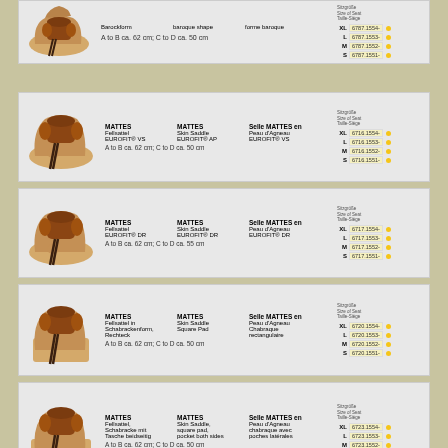[Figure (illustration): Partial product row showing a baroque-shape saddle pad with product codes XL 6787.1554-, L 6787.1553-, M 6787.1552-, S 6787.1551- and measurement A to B ca. 62 cm; C to D ca. 50 cm]
[Figure (illustration): MATTES Fellsattel EUROFIT VS skin saddle with codes XL 6716.1554-, L 6716.1553-, M 6716.1552-, S 6716.1551-]
[Figure (illustration): MATTES Fellsattel EUROFIT DR skin saddle with codes XL 6717.1554-, L 6717.1553-, M 6717.1552-, S 6717.1551-]
[Figure (illustration): MATTES Fellsattel in Schabrackenform Rechteck skin saddle square pad with codes XL 6720.1554-, L 6720.1553-, M 6720.1552-, S 6720.1551-]
[Figure (illustration): MATTES Fellsattel Schabracke mit Tasche beidseitig skin saddle square pad pocket both sides with codes XL 6723.1554-, L 6723.1553-, M 6723.1552-, S 6723.1551-]
[Figure (illustration): Partial bottom row MATTES Fellsattel skin saddle Selle MATTES en Peau d'Agneau]